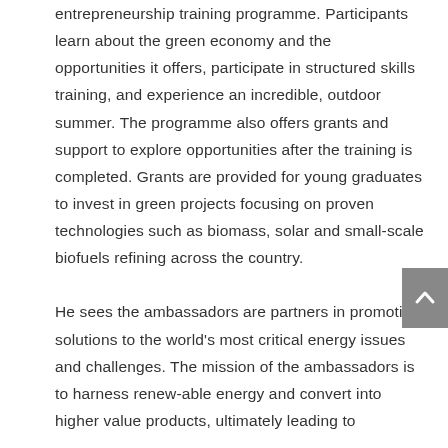entrepreneurship training programme. Participants learn about the green economy and the opportunities it offers, participate in structured skills training, and experience an incredible, outdoor summer. The programme also offers grants and support to explore opportunities after the training is completed. Grants are provided for young graduates to invest in green projects focusing on proven technologies such as biomass, solar and small-scale biofuels refining across the country.

He sees the ambassadors are partners in promoting solutions to the world's most critical energy issues and challenges. The mission of the ambassadors is to harness renew-able energy and convert into higher value products, ultimately leading to